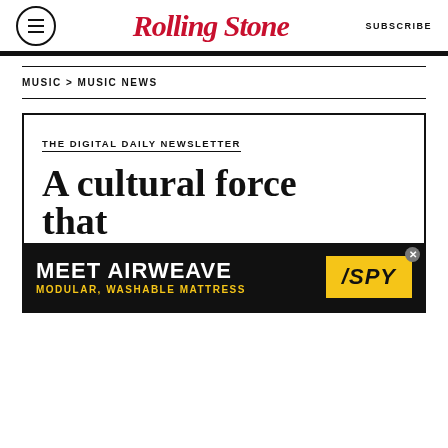Rolling Stone | SUBSCRIBE
MUSIC > MUSIC NEWS
[Figure (other): Rolling Stone newsletter promotional box with text 'THE DIGITAL DAILY NEWSLETTER' and headline 'A cultural force that transcends generations' followed by an advertisement banner for Airweave Modular Washable Mattress (SPY)]